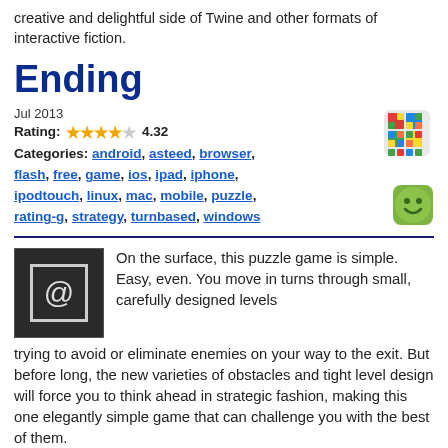creative and delightful side of Twine and other formats of interactive fiction.
Ending
Jul 2013
Rating: ★★★★☆ 4.32
Categories: android, asteed, browser, flash, free, game, ios, ipad, iphone, ipodtouch, linux, mac, mobile, puzzle, rating-g, strategy, turnbased, windows
[Figure (illustration): Colorful Rubik's cube icon in top right]
[Figure (illustration): Green smiley face icon on right side]
On the surface, this puzzle game is simple. Easy, even. You move in turns through small, carefully designed levels trying to avoid or eliminate enemies on your way to the exit. But before long, the new varieties of obstacles and tight level design will force you to think ahead in strategic fashion, making this one elegantly simple game that can challenge you with the best of them.
Tic-Tac-Toe-Ception